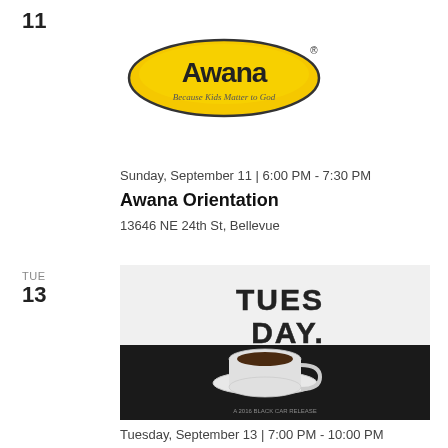11
[Figure (logo): Awana logo — yellow oval with 'Awana' text and tagline 'Because Kids Matter to God']
Sunday, September 11 | 6:00 PM - 7:30 PM
Awana Orientation
13646 NE 24th St, Bellevue
TUE
13
[Figure (photo): Black and white photo of a coffee cup on a saucer with 'TUESDAY.' text overlay in bold block letters. Top half white background, bottom half black background.]
Tuesday, September 13 | 7:00 PM - 10:00 PM